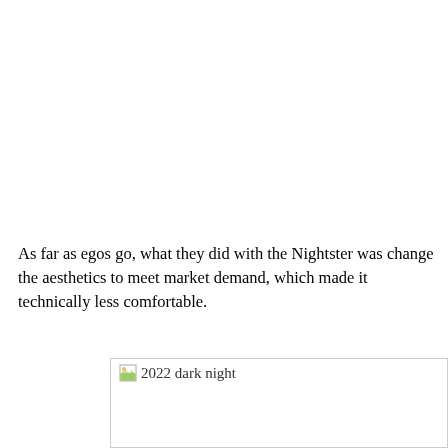As far as egos go, what they did with the Nightster was change the aesthetics to meet market demand, which made it technically less comfortable.
[Figure (photo): Broken image placeholder labeled '2022 dark night' with a small broken image icon, shown inside a light gray bordered box.]